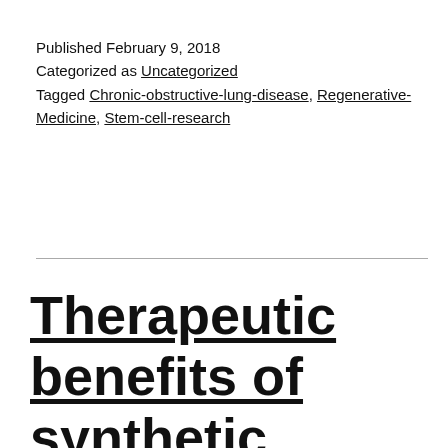Published February 9, 2018
Categorized as Uncategorized
Tagged Chronic-obstructive-lung-disease, Regenerative-Medicine, Stem-cell-research
Therapeutic benefits of synthetic cardiac stem cells